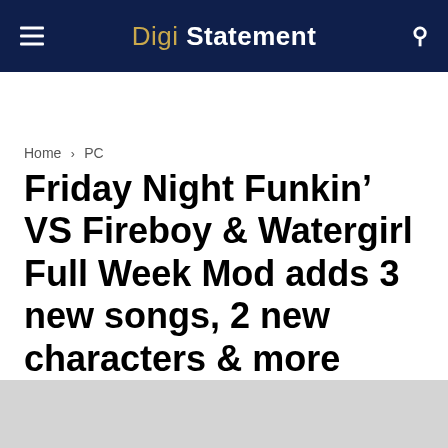Digi Statement
Home › PC
Friday Night Funkin' VS Fireboy & Watergirl Full Week Mod adds 3 new songs, 2 new characters & more (Download Link Inside))